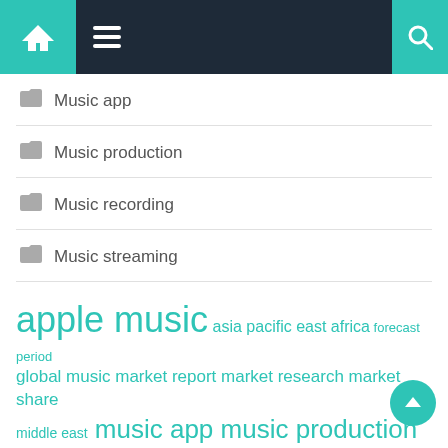Navigation bar with home, menu, and search icons
Music app
Music production
Music recording
Music streaming
apple music  asia pacific  east africa  forecast period  global music  market report  market research  market share  middle east  music app  music production  music streaming  north america  streaming services  united states